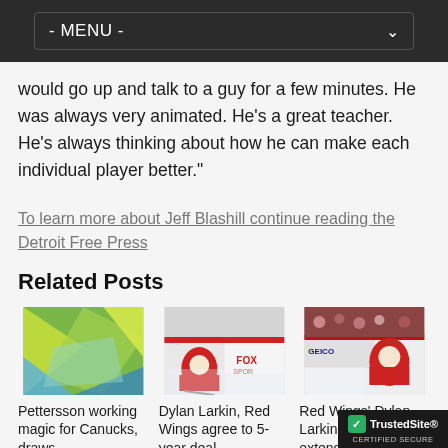- MENU -
would go up and talk to a guy for a few minutes. He was always very animated. He's a great teacher. He's always thinking about how he can make each individual player better."
To learn more about Jeff Blashill continue reading the Detroit Free Press
Related Posts
[Figure (photo): Abstract geometric polygonal background with yellow-green, blue, and pink triangular shapes]
Pettersson working magic for Canucks, draws
[Figure (photo): Detroit Red Wings hockey player skating on ice near Fox Sports board]
Dylan Larkin, Red Wings agree to 5-year deal
[Figure (photo): Detroit Red Wings Dylan Larkin skating on ice near Geico advertisement board]
Red Wings' Dylan Larkin: Hints extension could come